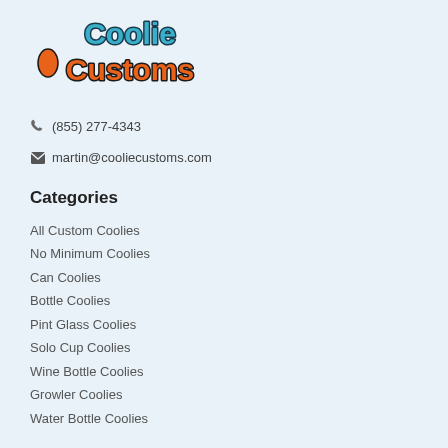[Figure (logo): Coolie Customs logo with bubble-style lettering. 'Coolie' in teal/blue and 'Customs' in orange, both with dark outlines on a light blue background.]
☎ (855) 277-4343
✉ martin@cooliecustoms.com
Categories
All Custom Coolies
No Minimum Coolies
Can Coolies
Bottle Coolies
Pint Glass Coolies
Solo Cup Coolies
Wine Bottle Coolies
Growler Coolies
Water Bottle Coolies